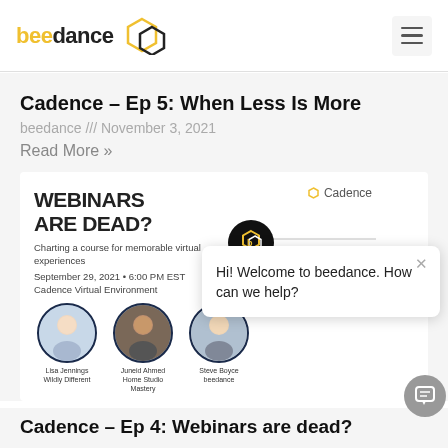beedance
Cadence – Ep 5: When Less Is More
beedance /// November 3, 2021
Read More »
[Figure (screenshot): Webinar promotional card showing 'WEBINARS ARE DEAD?' with speaker photos (Lisa Jennings - Wildly Different, Juneid Ahmed - Home Studio Mastery, Steve Boyce - beedance), date September 29, 2021, 6:00 PM EST, Cadence Virtual Environment. Overlaid with a beedance chat popup saying 'Hi! Welcome to beedance. How can we help?' and a Cadence badge.]
Cadence – Ep 4: Webinars are dead?